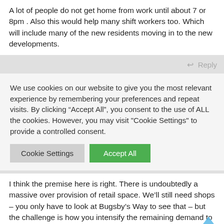A lot of people do not get home from work until about 7 or 8pm . Also this would help many shift workers too. Which will include many of the new residents moving in to the new developments.
Reply
We use cookies on our website to give you the most relevant experience by remembering your preferences and repeat visits. By clicking “Accept All”, you consent to the use of ALL the cookies. However, you may visit "Cookie Settings" to provide a controlled consent.
Cookie Settings
Accept All
I think the premise here is right. There is undoubtedly a massive over provision of retail space. We’ll still need shops – you only have to look at Bugsby’s Way to see that – but the challenge is how you intensify the remaining demand to release space for residential